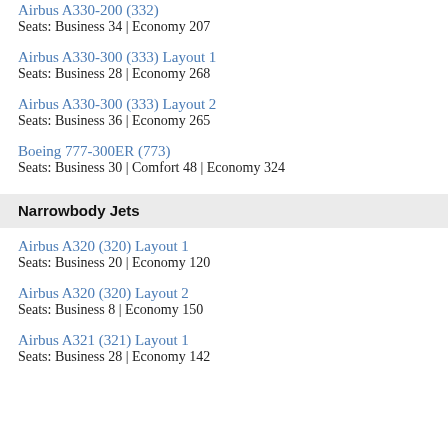Airbus A330-200 (332)
Seats: Business 34 | Economy 207
Airbus A330-300 (333) Layout 1
Seats: Business 28 | Economy 268
Airbus A330-300 (333) Layout 2
Seats: Business 36 | Economy 265
Boeing 777-300ER (773)
Seats: Business 30 | Comfort 48 | Economy 324
Narrowbody Jets
Airbus A320 (320) Layout 1
Seats: Business 20 | Economy 120
Airbus A320 (320) Layout 2
Seats: Business 8 | Economy 150
Airbus A321 (321) Layout 1
Seats: Business 28 | Economy 142